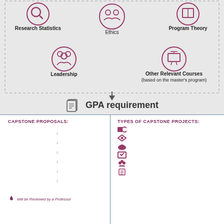[Figure (infographic): Top section showing course icons in dashed box: Research Statistics, Ethics, Program Theory, Leadership, Other Relevant Courses (based on the master's program). Arrow pointing down to GPA requirement. Bottom section split into two columns: Capstone Proposals list and Types of Capstone Projects list with icons.]
Research Statistics
Ethics
Program Theory
Leadership
Other Relevant Courses (based on the master's program)
GPA requirement
CAPSTONE PROPOSALS:
Introduction
Theories
Hypotheses
Scholarly literature review
Research methods
Proposal alternatives
Other issues relevant to the project proposal
Will be Reviewed by a Professor
TYPES OF CAPSTONE PROJECTS:
Case studies
Program evaluations
Outcomes-based evaluations
Surveys
Focus groups
And other